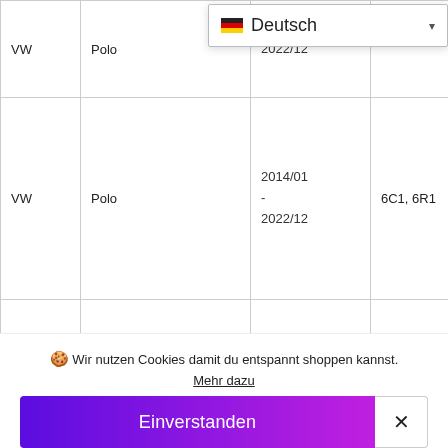| Make | Model | Date | Type |  |
| --- | --- | --- | --- | --- |
| VW | Polo | 2022/12 |  | 1 |
| VW | Polo | 2014/01 - 2022/12 | 6C1, 6R1 | 1 |
|  |  | 2014/02 |  | 1 |
🍪 Wir nutzen Cookies damit du entspannt shoppen kannst. Mehr dazu
Einverstanden